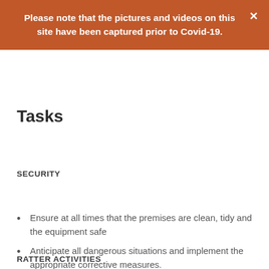Please note that the pictures and videos on this site have been captured prior to Covid-19.
Tasks
SECURITY
Ensure at all times that the premises are clean, tidy and the equipment safe
Anticipate all dangerous situations and implement the appropriate corrective measures.
RATTER ACTIVITIES